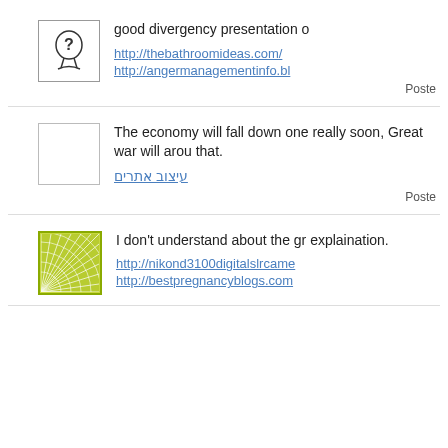[Figure (illustration): Avatar icon: outline of a human head with a question mark inside]
good divergency presentation o
http://thebathroomideas.com/
http://angermanagementinfo.bl
Poste
[Figure (illustration): Blank white square avatar placeholder]
The economy will fall down one really soon, Great war will arou that.
עיצוב אתרים
Poste
[Figure (illustration): Green square avatar with radiating white lines pattern]
I don't understand about the gr explaination.
http://nikond3100digitalslrcame
http://bestpregnancyblogs.com